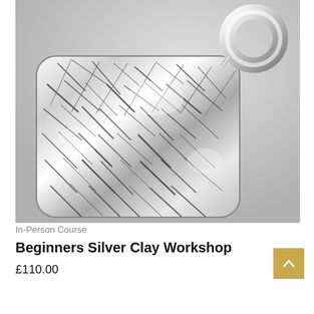[Figure (photo): Close-up photo of a silver clay pendant with textured surface, showing a rectangular rounded tag with intricate crinkled/hammered silver texture and a circular loop bail at the top right. Background is light grey.]
In-Person Course
Beginners Silver Clay Workshop
£110.00